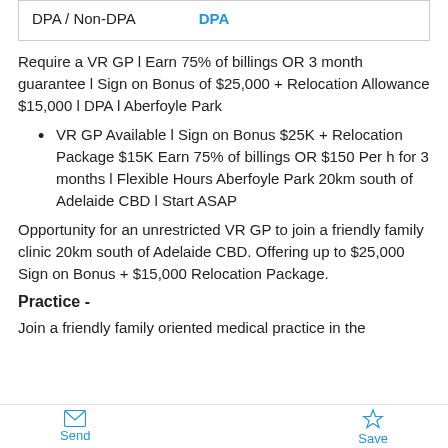| DPA / Non-DPA | DPA |
| --- | --- |
Require a VR GP l Earn 75% of billings OR 3 month guarantee l Sign on Bonus of $25,000 + Relocation Allowance $15,000 l DPA l Aberfoyle Park
VR GP Available l Sign on Bonus $25K + Relocation Package $15K Earn 75% of billings OR $150 Per h for 3 months l Flexible Hours Aberfoyle Park 20km south of Adelaide CBD l Start ASAP
Opportunity for an unrestricted VR GP to join a friendly family clinic 20km south of Adelaide CBD. Offering up to $25,000 Sign on Bonus + $15,000 Relocation Package.
Practice -
Join a friendly family oriented medical practice in the
Send    Save